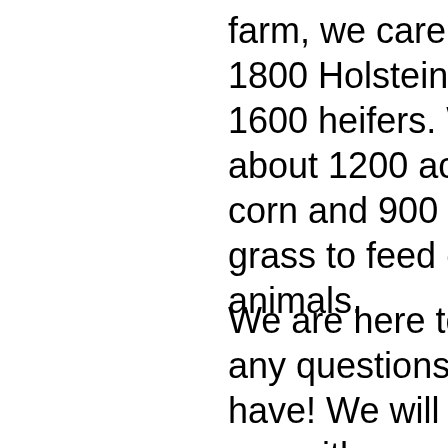farm, we care for our 1800 Holstein cows and 1600 heifers. We grow about 1200 acres of corn and 900 acres of grass to feed our animals.
We are here to answer any questions you may have! We will also assist you with any wholesale order, regardless of the order size! Let us help you have a successful